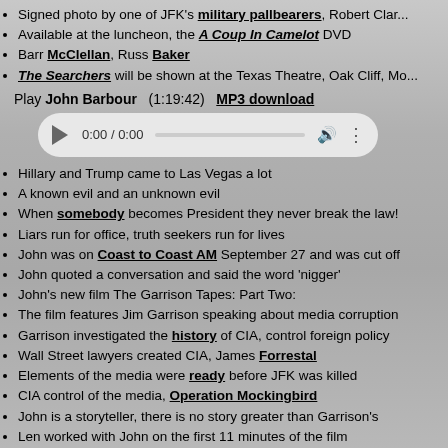Signed photo by one of JFK's military pallbearers, Robert Clark...
Available at the luncheon, the A Coup In Camelot DVD
Barr McClellan, Russ Baker
The Searchers will be shown at the Texas Theatre, Oak Cliff, Mo...
Play John Barbour (1:19:42) MP3 download
[Figure (other): Audio player widget showing 0:00 / 0:00 with play button, progress bar, volume and more controls]
Hillary and Trump came to Las Vegas a lot
A known evil and an unknown evil
When somebody becomes President they never break the law!
Liars run for office, truth seekers run for lives
John was on Coast to Coast AM September 27 and was cut off
John quoted a conversation and said the word 'nigger'
John's new film The Garrison Tapes: Part Two:
The film features Jim Garrison speaking about media corruption
Garrison investigated the history of CIA, control foreign policy
Wall Street lawyers created CIA, James Forrestal
Elements of the media were ready before JFK was killed
CIA control of the media, Operation Mockingbird
John is a storyteller, there is no story greater than Garrison's
Len worked with John on the first 11 minutes of the film
John acknowldges that he get's riled up
John will be speaking in Dallas at the Judyth Vary Baker confere...
The new film will be shown at the Texas Theatre, Oak Cliff, Mon,
John on Facebook
John Barbour's Last Word On 'The Garrison Tapes' (BOR #75...)